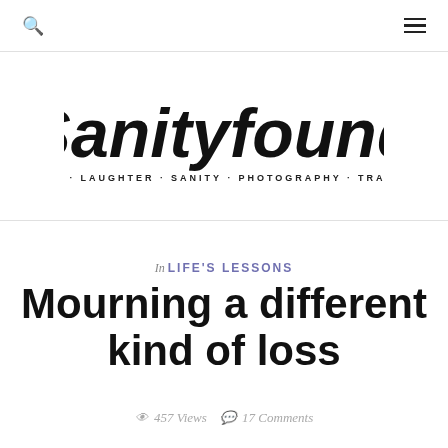Search | Menu
[Figure (logo): Sanityfound logo with cursive script text 'Sanityfound' and subtitle 'LIFE · LAUGHTER · SANITY · PHOTOGRAPHY · TRAVEL']
In LIFE'S LESSONS
Mourning a different kind of loss
457 Views  17 Comments